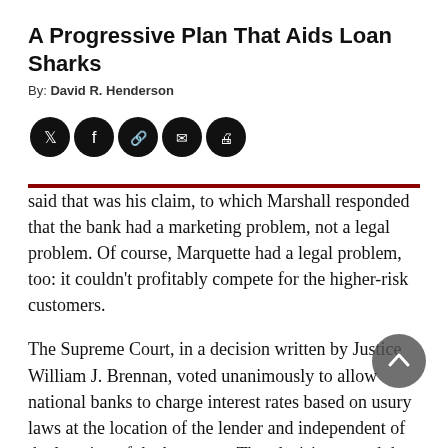A Progressive Plan That Aids Loan Sharks
By: David R. Henderson
[Figure (other): Row of five social sharing icon circles: Twitter, Facebook, link/chain, email, print]
said that was his claim, to which Marshall responded that the bank had a marketing problem, not a legal problem. Of course, Marquette had a legal problem, too: it couldn’t profitably compete for the higher-risk customers.
The Supreme Court, in a decision written by Justice William J. Brennan, voted unanimously to allow national banks to charge interest rates based on usury laws at the location of the lender and independent of the location of the borrower. That decision paved the way for a much freer market in